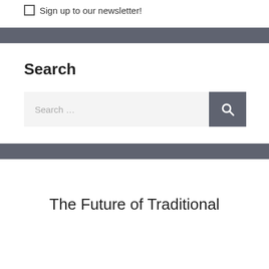Sign up to our newsletter!
Search
Search …
The Future of Traditional